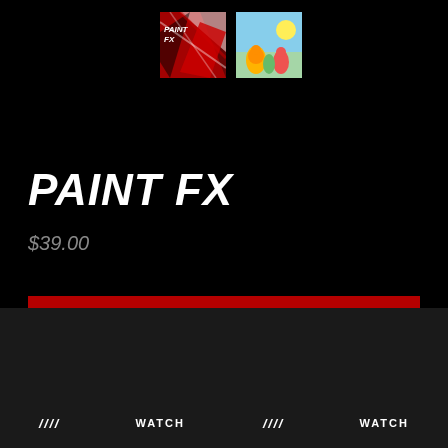[Figure (photo): Two product thumbnail images: left is PAINT FX cover with red and white paint splatter design, right is a cartoon-style image with colorful characters on blue sky background]
PAINT FX
$39.00
ADD TO CART
/ / / /    WATCH    / / / /    WATCH